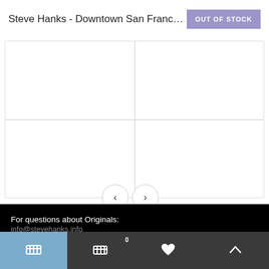Steve Hanks - Downtown San Franc… OUT OF STOCK
[Figure (other): Product image carousel with navigation arrows (left and right) and a crosshair/divider showing empty image slots]
For questions about Originals:
info@stevehanks.info
For questions about Prints:
(505) 353-2238
CONTACT FORM
Cart icon | Cart 0 | Heart icon | Up arrow icon